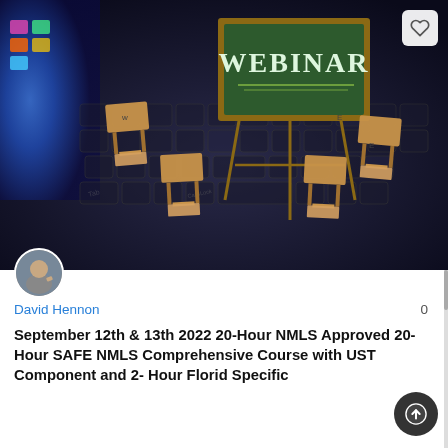[Figure (photo): Photo of miniature school desks and chairs arranged on a laptop keyboard, with a small chalkboard easel displaying 'WEBINAR' in chalk lettering. Background shows a colorful laptop screen.]
[Figure (photo): Circular avatar photo of David Hennon, a man in a gray shirt giving a thumbs up gesture.]
David Hennon
0
September 12th & 13th 2022 20-Hour NMLS Approved 20-Hour SAFE NMLS Comprehensive Course with UST Component and 2- Hour Florida Specific